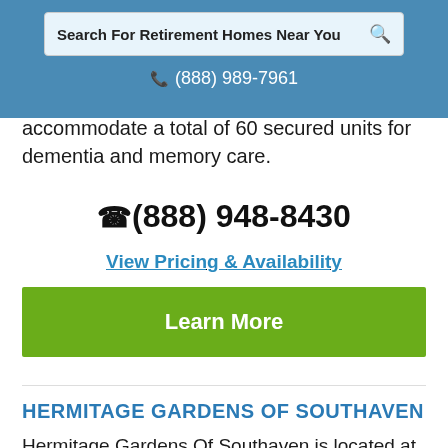Search For Retirement Homes Near You | ☎ (888) 989-7961
accommodate a total of 60 secured units for dementia and memory care.
☎ (888) 948-8430
View Pricing & Availability
Learn More
HERMITAGE GARDENS OF SOUTHAVEN
Hermitage Gardens Of Southaven is located at 123 Plantation Avenue, Southaven, MS 7375...